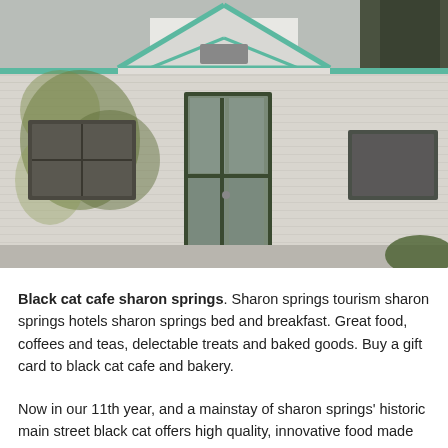[Figure (photo): Exterior photograph of a white brick building with green-painted trim and a gabled roof with teal/green decorative woodwork. Ivy or vines grow on the brick walls. A green-framed glass door is visible in the center, with windows on either side. Trees are visible in the background.]
Black cat cafe sharon springs. Sharon springs tourism sharon springs hotels sharon springs bed and breakfast. Great food, coffees and teas, delectable treats and baked goods. Buy a gift card to black cat cafe and bakery.
Now in our 11th year, and a mainstay of sharon springs' historic main street black cat offers high quality, innovative food made with local and organic ingredients whenever possible. Cafe & bakery in historic sharon springs Black